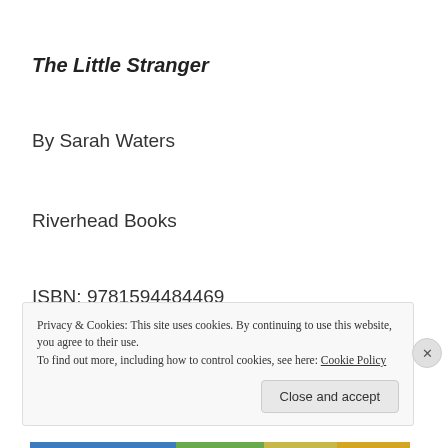The Little Stranger
By Sarah Waters
Riverhead Books
ISBN: 9781594484469
2.75 stars
Privacy & Cookies: This site uses cookies. By continuing to use this website, you agree to their use.
To find out more, including how to control cookies, see here: Cookie Policy
Close and accept